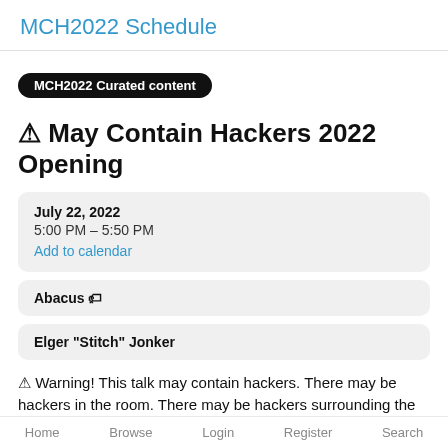MCH2022 Schedule
MCH2022 Curated content
⚠ May Contain Hackers 2022 Opening
July 22, 2022
5:00 PM – 5:50 PM
Add to calendar
Abacus 🏷
Elger "Stitch" Jonker
⚠ Warning! This talk may contain hackers. There may be hackers in the room. There may be hackers surrounding the room. There may be hackers recording this. There may be hackers listening in. There may be hackers that exfiltrate
Home   Browse   Login   Register   Search